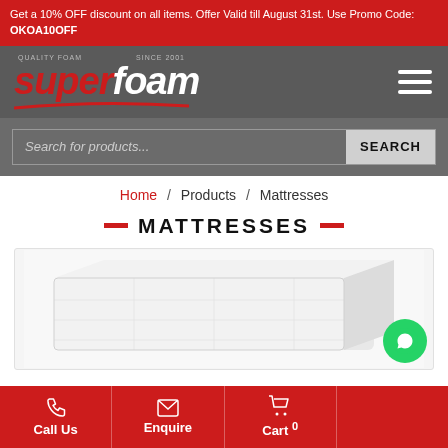Get a 10% OFF discount on all items. Offer Valid till August 31st. Use Promo Code: OKOA10OFF
[Figure (logo): Superfoam logo in white italic bold text on dark grey background with red underline swoosh]
Search for products...
Home / Products / Mattresses
MATTRESSES
[Figure (photo): A white foam mattress shown at an angle on a white background inside a product card]
Call Us  Enquire  Cart 0